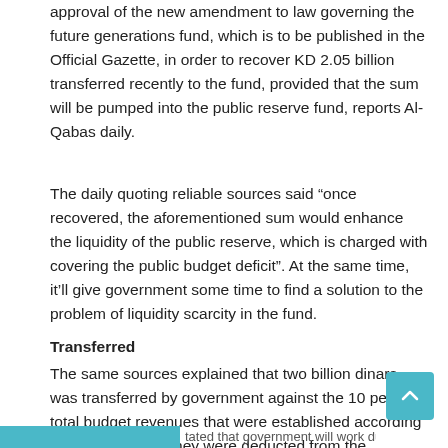approval of the new amendment to law governing the future generations fund, which is to be published in the Official Gazette, in order to recover KD 2.05 billion transferred recently to the fund, provided that the sum will be pumped into the public reserve fund, reports Al-Qabas daily.
The daily quoting reliable sources said “once recovered, the aforementioned sum would enhance the liquidity of the public reserve, which is charged with covering the public budget deficit”. At the same time, it’ll give government some time to find a solution to the problem of liquidity scarcity in the fund.
Transferred
The same sources explained that two billion dinars was transferred by government against the 10 percent total budget revenues that were established according to the old law, as they were deducted from the revenues of fiscal year 2018-2019